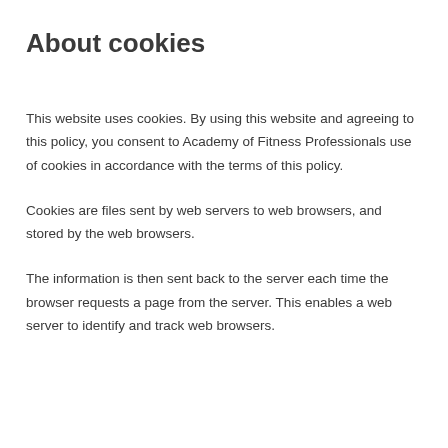About cookies
This website uses cookies. By using this website and agreeing to this policy, you consent to Academy of Fitness Professionals use of cookies in accordance with the terms of this policy.
Cookies are files sent by web servers to web browsers, and stored by the web browsers.
The information is then sent back to the server each time the browser requests a page from the server. This enables a web server to identify and track web browsers.